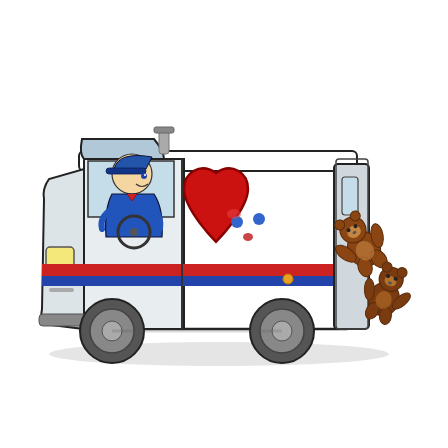[Figure (illustration): A cartoon illustration of a postal/delivery truck (white with red and blue horizontal stripes) driven by a uniformed postal worker in a blue cap. The side of the truck features a large red cartoon heart with a surprised face (blue dot eyes, small mouth). Two cartoon teddy bears are tumbling out of the back of the truck on the right side. The truck casts a soft shadow on the ground.]